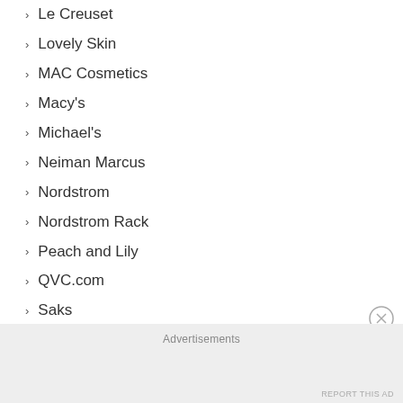Le Creuset
Lovely Skin
MAC Cosmetics
Macy's
Michael's
Neiman Marcus
Nordstrom
Nordstrom Rack
Peach and Lily
QVC.com
Saks
Sephora
Skinstore
Soko Glam
Style Korean
Stylevana
Target
Advertisements